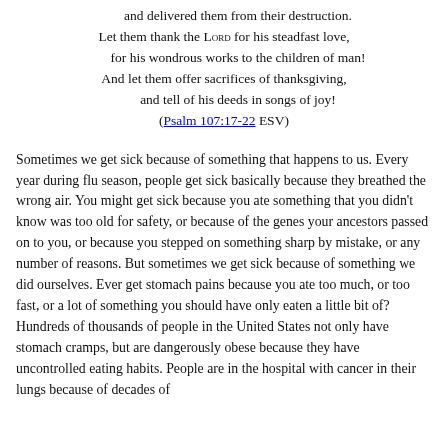and delivered them from their destruction.
Let them thank the Lord for his steadfast love,
for his wondrous works to the children of man!
And let them offer sacrifices of thanksgiving,
and tell of his deeds in songs of joy!
(Psalm 107:17-22 ESV)
Sometimes we get sick because of something that happens to us. Every year during flu season, people get sick basically because they breathed the wrong air. You might get sick because you ate something that you didn't know was too old for safety, or because of the genes your ancestors passed on to you, or because you stepped on something sharp by mistake, or any number of reasons. But sometimes we get sick because of something we did ourselves. Ever get stomach pains because you ate too much, or too fast, or a lot of something you should have only eaten a little bit of? Hundreds of thousands of people in the United States not only have stomach cramps, but are dangerously obese because they have uncontrolled eating habits. People are in the hospital with cancer in their lungs because of decades of